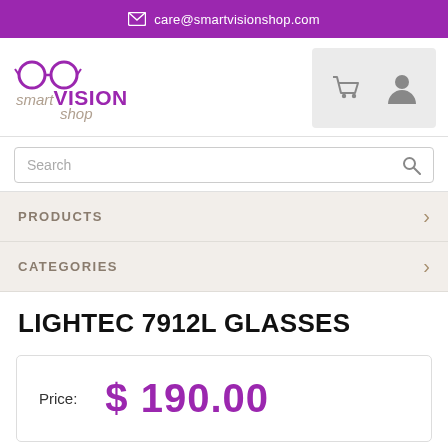care@smartvisionshop.com
[Figure (logo): Smart Vision Shop logo with glasses icon, 'smart' and 'shop' in tan italic, 'VISION' in purple bold uppercase]
[Figure (infographic): Shopping cart and user account icons in grey on light grey background]
Search
PRODUCTS
CATEGORIES
LIGHTEC 7912L GLASSES
Price:  $ 190.00